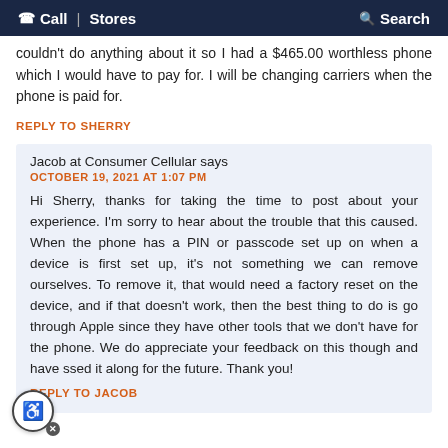Call | Stores   Search
couldn't do anything about it so I had a $465.00 worthless phone which I would have to pay for. I will be changing carriers when the phone is paid for.
REPLY TO SHERRY
Jacob at Consumer Cellular says
OCTOBER 19, 2021 AT 1:07 PM
Hi Sherry, thanks for taking the time to post about your experience. I'm sorry to hear about the trouble that this caused. When the phone has a PIN or passcode set up on when a device is first set up, it's not something we can remove ourselves. To remove it, that would need a factory reset on the device, and if that doesn't work, then the best thing to do is go through Apple since they have other tools that we don't have for the phone. We do appreciate your feedback on this though and have ssed it along for the future. Thank you!
REPLY TO JACOB